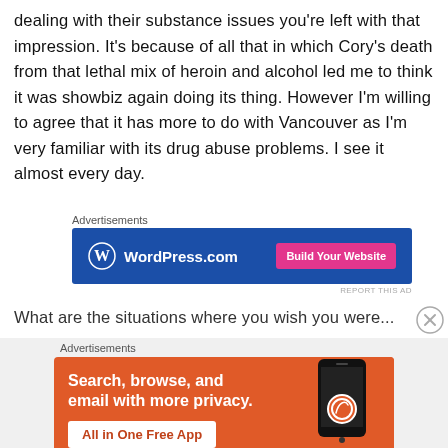dealing with their substance issues you're left with that impression. It's because of all that in which Cory's death from that lethal mix of heroin and alcohol led me to think it was showbiz again doing its thing. However I'm willing to agree that it has more to do with Vancouver as I'm very familiar with its drug abuse problems. I see it almost every day.
Advertisements
[Figure (screenshot): WordPress.com advertisement banner with blue background, WordPress logo, and pink 'Build Your Website' button]
REPORT THIS AD
What are the situations where you wish you were...
Advertisements
[Figure (screenshot): DuckDuckGo advertisement with orange background, text 'Search, browse, and email with more privacy. All in One Free App' and DuckDuckGo logo with phone image]
REPORT THIS AD